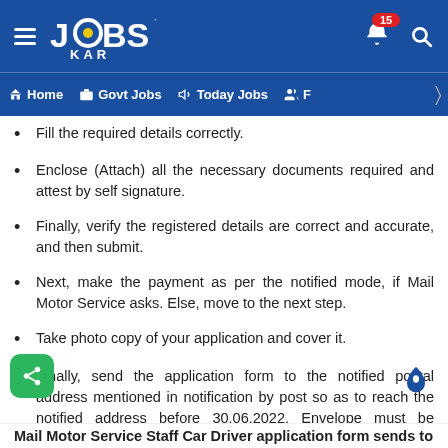[Figure (screenshot): JobsKar app header with logo, bell notification (15), and search icon on blue background]
[Figure (screenshot): Navigation bar with Home, Govt Jobs, Today Jobs, and F menu items on blue background]
Fill the required details correctly.
Enclose (Attach) all the necessary documents required and attest by self signature.
Finally, verify the registered details are correct and accurate, and then submit.
Next, make the payment as per the notified mode, if Mail Motor Service asks. Else, move to the next step.
Take photo copy of your application and cover it.
Finally, send the application form to the notified postal address mentioned in notification by post so as to reach the notified address before 30.06.2022. Envelope must be superscribed with APPLICATION FOR THE POST OF ............
Mail Motor Service Staff Car Driver application form sends to